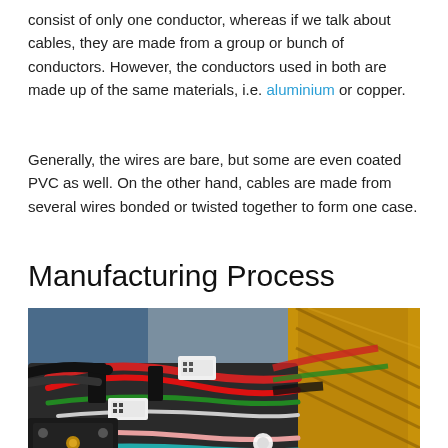consist of only one conductor, whereas if we talk about cables, they are made from a group or bunch of conductors. However, the conductors used in both are made up of the same materials, i.e. aluminium or copper.
Generally, the wires are bare, but some are even coated PVC as well. On the other hand, cables are made from several wires bonded or twisted together to form one case.
Manufacturing Process
[Figure (photo): Photograph of colorful wires and cables being assembled, with yellow braided sleeve on right and red, green, black multicolored wires in center, on an industrial workbench.]